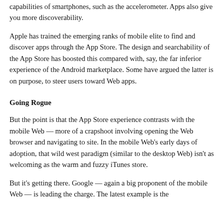but apps give you more functionality by tapping into the native capabilities of smartphones, such as the accelerometer. Apps also give you more discoverability.
Apple has trained the emerging ranks of mobile elite to find and discover apps through the App Store. The design and searchability of the App Store has boosted this compared with, say, the far inferior experience of the Android marketplace. Some have argued the latter is on purpose, to steer users toward Web apps.
Going Rogue
But the point is that the App Store experience contrasts with the mobile Web — more of a crapshoot involving opening the Web browser and navigating to site. In the mobile Web's early days of adoption, that wild west paradigm (similar to the desktop Web) isn't as welcoming as the warm and fuzzy iTunes store.
But it's getting there. Google — again a big proponent of the mobile Web — is leading the charge. The latest example is the HTML5 desktop of New Tab...